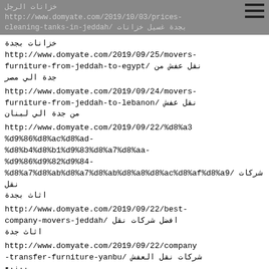خزانات الرجل http://www.domyate.com/2019/10/03/prices-cleaning-tanks-in-jeddah/ بجدة غسيل خزانات
خزانات بجدة http://www.domyate.com/2019/09/25/movers-furniture-from-jeddah-to-egypt/ نقل عفش من جدة الي مصر
http://www.domyate.com/2019/09/24/movers-furniture-from-jeddah-to-lebanon/ نقل عفش من جدة الي لبنان
http://www.domyate.com/2019/09/22/%d8%a3%d9%86%d8%ac%d8%ad-%d8%b4%d8%b1%d9%83%d8%a7%d8%aa-%d9%86%d9%82%d9%84-%d8%a7%d8%ab%d8%a7%d8%ab%d8%a8%d8%ac%d8%af%d8%a9/ شركات نقل اثاث بجدة
http://www.domyate.com/2019/09/22/best-company-movers-jeddah/ افضل شركات نقل اثاث جدة
http://www.domyate.com/2019/09/22/company-transfer-furniture-yanbu/ شركات نقل العفش بينبع
http://www.domyate.com/2019/09/21/taif-transfer-furniture-company/ شركة نقل عفش